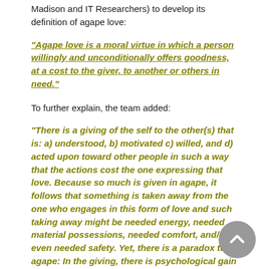Madison and IT Researchers) to develop its definition of agape love:
"Agape love is a moral virtue in which a person willingly and unconditionally offers goodness, at a cost to the giver, to another or others in need."
To further explain, the team added:
"There is a giving of the self to the other(s) that is: a) understood, b) motivated c) willed, and d) acted upon toward other people in such a way that the actions cost the one expressing that love. Because so much is given in agape, it follows that something is taken away from the one who engages in this form of love and such taking away might be needed energy, needed material possessions, needed comfort, and/or even needed safety. Yet, there is a paradox to agape: In the giving, there is psychological gain for